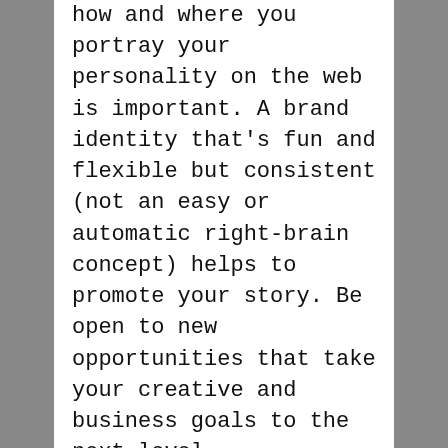how and where you portray your personality on the web is important. A brand identity that's fun and flexible but consistent (not an easy or automatic right-brain concept) helps to promote your story. Be open to new opportunities that take your creative and business goals to the next level.
How do you use your abundance of content, gain the best exposure for your work, and partner with a creative and innovative team?